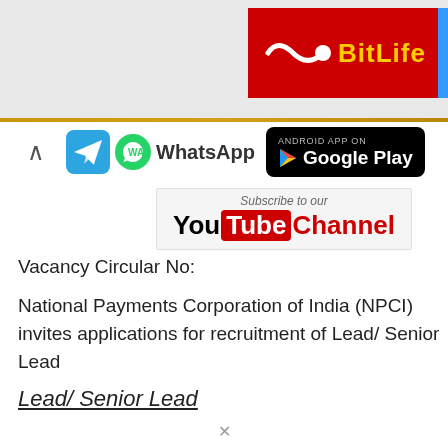[Figure (screenshot): Top banner area with BitLife advertisement (red background) and partial second ad on right side]
[Figure (infographic): Social media bar with Telegram icon, WhatsApp icon and text, and Android App on Google Play button]
[Figure (infographic): Subscribe to our YouTube Channel badge]
Vacancy Circular No:
National Payments Corporation of India (NPCI) invites applications for recruitment of Lead/ Senior Lead
Lead/ Senior Lead